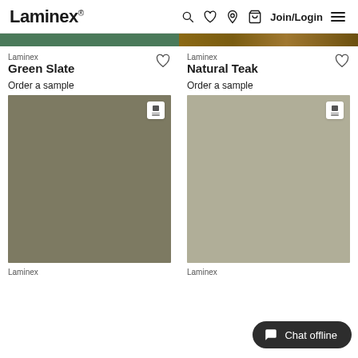Laminex — Join/Login
[Figure (screenshot): Laminex product listing page showing two laminate products: Green Slate and Natural Teak, each with color strip, product name, order a sample link, and swatch image]
Laminex
Green Slate
Order a sample
Laminex
Natural Teak
Order a sample
Laminex
Laminex
Chat offline